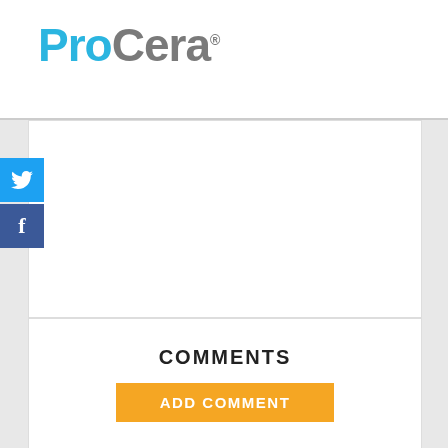[Figure (logo): ProCera logo with 'Pro' in cyan/blue and 'Cera' in gray, with registered trademark symbol]
[Figure (infographic): Social sharing sidebar with Twitter (blue) and Facebook (dark blue) icon buttons]
COMMENTS
ADD COMMENT